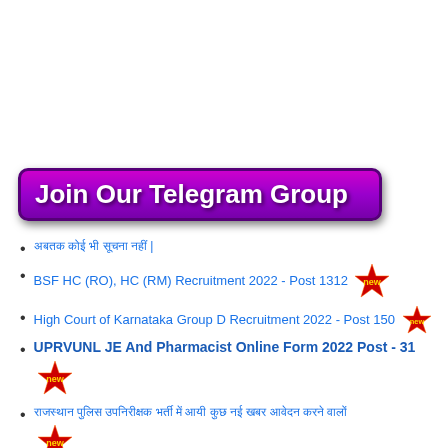[Figure (other): Purple/magenta banner button with text 'Join Our Telegram Group' in white comic-style font]
[Hindi text] |
BSF HC (RO), HC (RM) Recruitment 2022 - Post 1312 [new badge]
High Court of Karnataka Group D Recruitment 2022 - Post 150 [new badge]
UPRVUNL JE And Pharmacist Online Form 2022 Post - 31 [new badge]
[Hindi text long] [new badge]
[Hindi text] [new badge]
[Hindi text short]